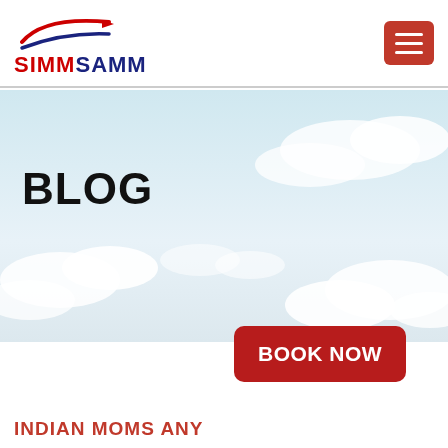SIMMSAMM
[Figure (photo): Sky with clouds — light blue sky background with white clouds, used as hero banner for blog page]
BLOG
BOOK NOW
INDIAN MOMS AN...Y